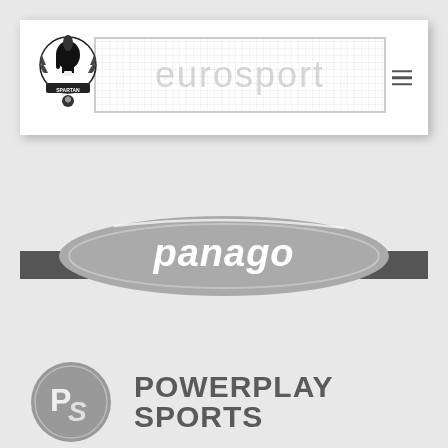[Figure (logo): Navigation bar with Spartan soccer club logo on left, Eurosport dotted text banner in center, hamburger menu icon on right]
[Figure (logo): Dark gray sub-banner with 'SOCCER STORES' text in faded letters]
[Figure (logo): Panago logo — gray oval ellipse with white italic 'panago' text and curved swoosh line]
[Figure (logo): Powerplay Sports logo — gray circle with stylized PS letters on left, bold dark gray POWERPLAY SPORTS text on right]